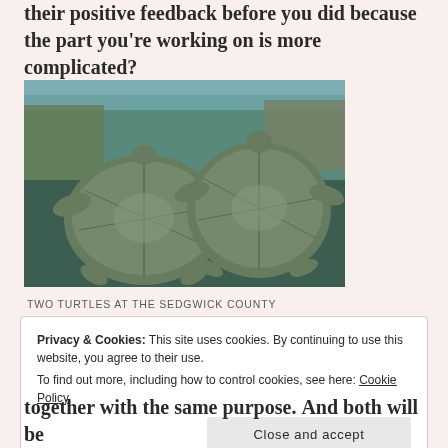their positive feedback before you did because the part you're working on is more complicated?
[Figure (photo): Two turtles viewed from above underwater at the Sedgwick County Zoo, showing their shells and flippers]
TWO TURTLES AT THE SEDGWICK COUNTY
Privacy & Cookies: This site uses cookies. By continuing to use this website, you agree to their use.
To find out more, including how to control cookies, see here: Cookie Policy
Close and accept
together with the same purpose. And both will be